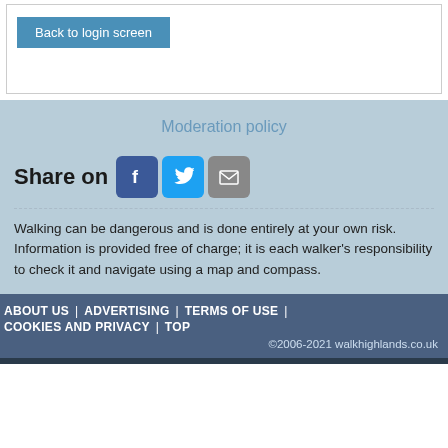Back to login screen
Moderation policy
Share on
Walking can be dangerous and is done entirely at your own risk. Information is provided free of charge; it is each walker's responsibility to check it and navigate using a map and compass.
ABOUT US | ADVERTISING | TERMS OF USE | COOKIES AND PRIVACY | TOP ©2006-2021 walkhighlands.co.uk